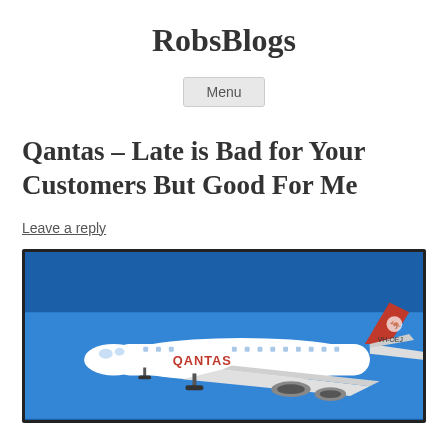RobsBlogs
Menu
Qantas – Late is Bad for Your Customers But Good For Me
Leave a reply
[Figure (photo): A Qantas Boeing 747 aircraft in flight against a blue sky, showing the white fuselage with Qantas livery and red tail with kangaroo logo.]